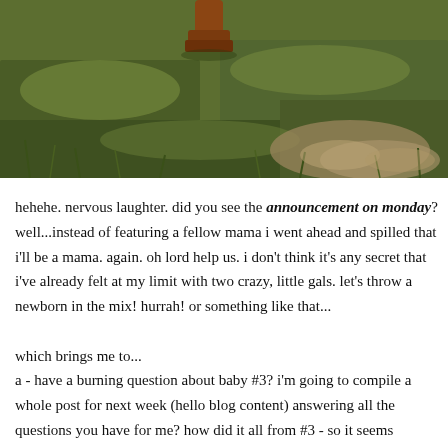[Figure (photo): A close-up outdoor photo showing grass, dirt, and what appears to be the feet/boots of a person standing on grassy terrain.]
hehehe. nervous laughter. did you see the announcement on monday? well...instead of featuring a fellow mama i went ahead and spilled that i'll be a mama. again. oh lord help us. i don't think it's any secret that i've already felt at my limit with two crazy, little gals. let's throw a newborn in the mix! hurrah! or something like that...
which brings me to...
a - have a burning question about baby #3? i'm going to compile a whole post for next week (hello blog content) answering all the questions you have for me? how did it all from #3 - so it seems question?